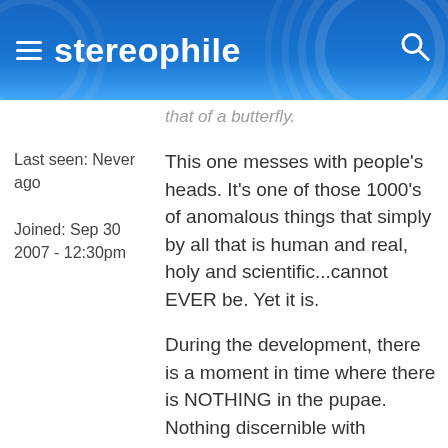stereophile
that of a butterfly.
Last seen: Never ago
Joined: Sep 30 2007 - 12:30pm
This one messes with people's heads. It's one of those 1000's of anomalous things that simply by all that is human and real, holy and scientific...cannot EVER be. Yet it is.
During the development, there is a moment in time where there is NOTHING in the pupae. Nothing discernible with respects to being organic,